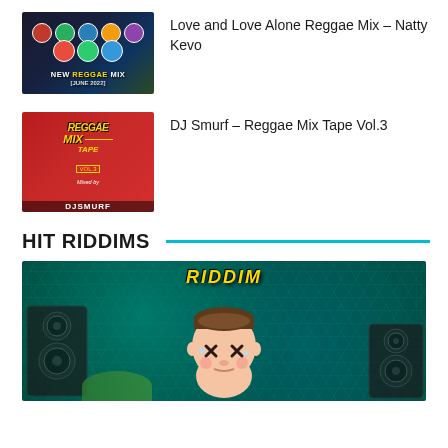Love and Love Alone Reggae Mix – Natty Kevo
[Figure (photo): Thumbnail for Reggae Mix June 2022 with group of artists on dark background]
DJ Smurf – Reggae Mix Tape Vol.3
[Figure (photo): Thumbnail for DJ Smurf Reggae Mix Tape Vol.3 on red background]
HIT RIDDIMS
[Figure (photo): Hit Riddims section image showing a cartoon character on a teal/green hexagonal background with RIDDIM text]